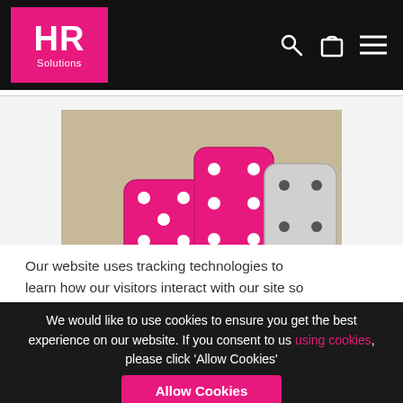HR Solutions
[Figure (photo): Photo of pink/magenta dice stacked on a beige background]
Our website uses tracking technologies to learn how our visitors interact with our site so
We would like to use cookies to ensure you get the best experience on our website. If you consent to us using cookies, please click 'Allow Cookies'